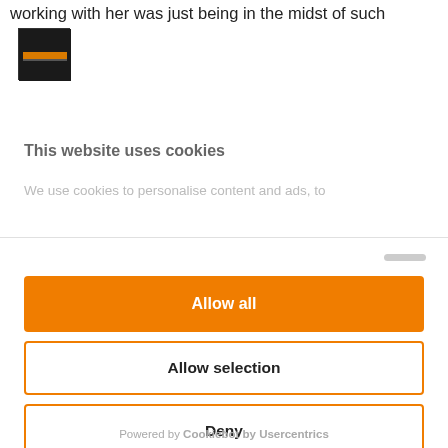working with her was just being in the midst of such
[Figure (screenshot): Small thumbnail image of a dark-colored video or photo, showing an orange bar at the center on dark background]
This website uses cookies
We use cookies to personalise content and ads, to
Allow all
Allow selection
Deny
Powered by Cookiebot by Usercentrics